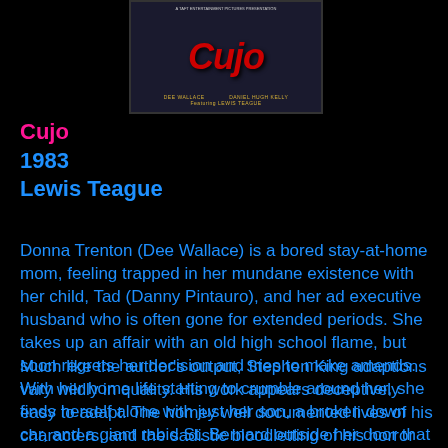[Figure (photo): Movie poster for Cujo (1983) showing the film title in red italic lettering, with credits for Dee Wallace and Daniel Hugh Kelly at the bottom, on a dark background]
Cujo
1983
Lewis Teague
Donna Trenton (Dee Wallace) is a bored stay-at-home mom, feeling trapped in her mundane existence with her child, Tad (Danny Pintauro), and her ad executive husband who is often gone for extended periods. She takes up an affair with an old high school flame, but soon regrets her decision and tries to make amends. With her home life starting to crumble around her, she finds herself alone with just her son, a broken down car, and a giant rabid St. Bernard outside her door that would like nothing more than to tear her apart.
Much like the author’s output, Stephen King adaptions vary wildly in quality. His work appears deceptively easy to adapt. The homey well documented lives of his characters, and the sadistic bloodletting of his horror are so smoothly and skillfully rendered that it is easy to picture the events in the